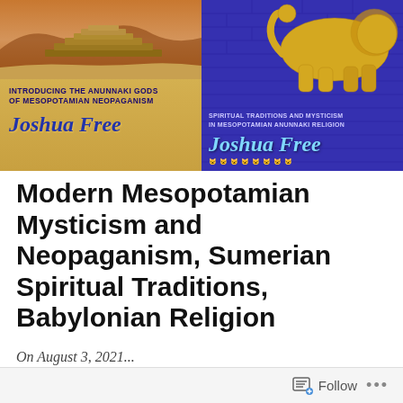[Figure (illustration): Two book covers by Joshua Free side by side. Left cover: 'Introducing the Anunnaki Gods of Mesopotamian Neopaganism' with a ziggurat desert background and author name 'Joshua Free' in blue italic serif on gold/yellow background. Right cover: 'Spiritual Traditions and Mysticism in Mesopotamian Anunnaki Religion' with a golden lion on blue brick wall background and author name 'Joshua Free' in light blue italic serif.]
Modern Mesopotamian Mysticism and Neopaganism, Sumerian Spiritual Traditions, Babylonian Religion
On August 3, 2021...
Follow ...